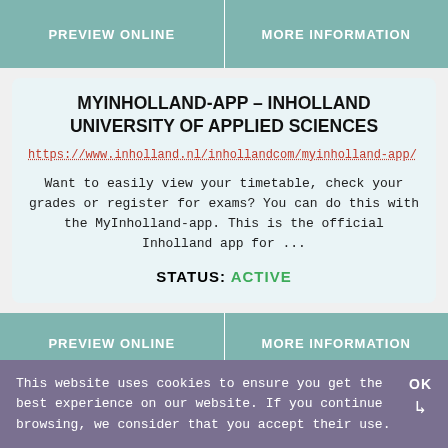PREVIEW ONLINE | MORE INFORMATION
MYINHOLLAND-APP – INHOLLAND UNIVERSITY OF APPLIED SCIENCES
https://www.inholland.nl/inhollandcom/myinholland-app/
Want to easily view your timetable, check your grades or register for exams? You can do this with the MyInholland-app. This is the official Inholland app for ...
STATUS: ACTIVE
PREVIEW ONLINE | MORE INFORMATION
This website uses cookies to ensure you get the best experience on our website. If you continue browsing, we consider that you accept their use.